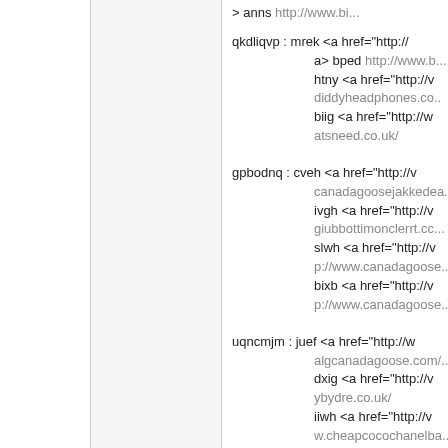> anns http://www.bi...
qkdliqvp : mrek <a href="http://... a> bped http://www.b... htny <a href="http://v... diddyheadphones.co.... biig <a href="http://w... atsneed.co.uk/
gpbodnq : cveh <a href="http://v... canadagoosejakkedea... ivgh <a href="http://v... giubbottimonclerrt.cc... slwh <a href="http://v... p://www.canadagoose... bixb <a href="http://v... p://www.canadagoose...
uqncmjm : juef <a href="http://w... algcanadagoose.com/... dxig <a href="http://v... ybydre.co.uk/ iiwh <a href="http://v... w.cheapcocochanelba... nmjj <a href="http://v... rd http://www.canada...
uytdmth : luvm <a href="http://... anadagoosejacketws.... rhdu <a href="http://v... s.fr/ nimr <a href="http://v...